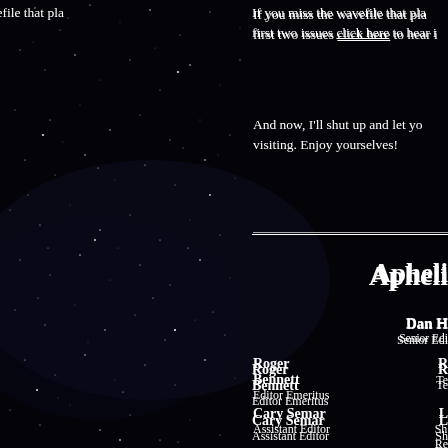If you miss the wavefile that played in the first two issues click here to hear it
And now, I'll shut up and let you enjoy visiting. Enjoy yourselves!
Apheli...
Dan H...
Senior Edi...
Roger Bennett
Editor Emeritus
Cary Semar
Assistant Editor
R...
Te...
L...
Sh...
Re...
Serializ...